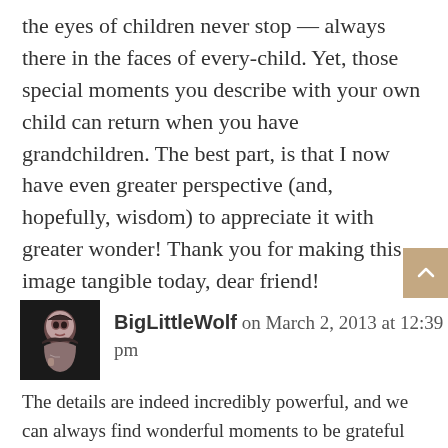the eyes of children never stop — always there in the faces of every-child. Yet, those special moments you describe with your own child can return when you have grandchildren. The best part, is that I now have even greater perspective (and, hopefully, wisdom) to appreciate it with greater wonder! Thank you for making this image tangible today, dear friend!
Trish
[Figure (photo): Avatar photo of BigLittleWolf — a woman with dark hair and hand near face, black and white style photo]
BigLittleWolf on March 2, 2013 at 12:39 pm
The details are indeed incredibly powerful, and we can always find wonderful moments to be grateful for – if we're lucky.
Most of us who are reading you are among